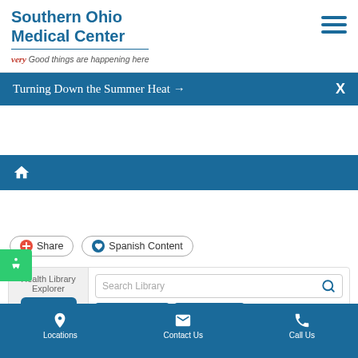[Figure (screenshot): Southern Ohio Medical Center website screenshot showing header with logo, navigation banner, health library explorer, and bottom navigation bar]
Southern Ohio Medical Center
very Good things are happening here
Turning Down the Summer Heat →
Share
Spanish Content
Health Library Explorer
Search Library
A-Z Listings
Contact Us
Locations
Contact Us
Call Us